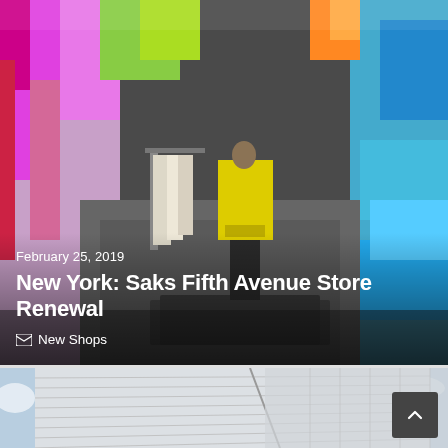[Figure (photo): Interior of a luxury retail store with colorful illuminated panels in pink, magenta, cyan, orange. A mannequin wearing a yellow jacket and black outfit stands on a dark display platform. The background has vivid colored glass panels.]
February 25, 2019
New York: Saks Fifth Avenue Store Renewal
New Shops
[Figure (photo): Exterior architectural photo of a modern building facade with white/grey marble or stone cladding with horizontal stripes/lines. Cloudy blue sky in background. Bottom portion of image visible.]